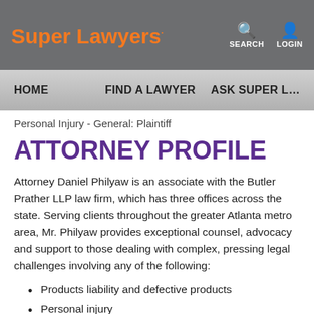Super Lawyers · SEARCH · LOGIN
HOME   FIND A LAWYER   ASK SUPER L…
Personal Injury - General: Plaintiff
ATTORNEY PROFILE
Attorney Daniel Philyaw is an associate with the Butler Prather LLP law firm, which has three offices across the state. Serving clients throughout the greater Atlanta metro area, Mr. Philyaw provides exceptional counsel, advocacy and support to those dealing with complex, pressing legal challenges involving any of the following:
Products liability and defective products
Personal injury
Over the course of his legal career, Mr. Philyaw has